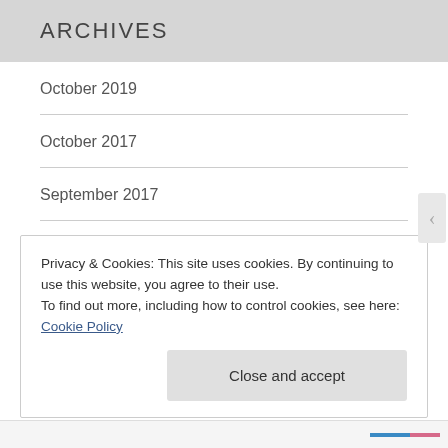ARCHIVES
October 2019
October 2017
September 2017
July 2017
December 2016
Privacy & Cookies: This site uses cookies. By continuing to use this website, you agree to their use.
To find out more, including how to control cookies, see here: Cookie Policy
Close and accept